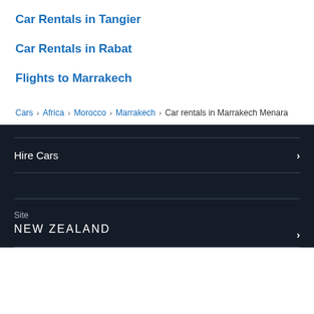Car Rentals in Tangier
Car Rentals in Rabat
Flights to Marrakech
Cars > Africa > Morocco > Marrakech > Car rentals in Marrakech Menara
Hire Cars
Site
NEW ZEALAND